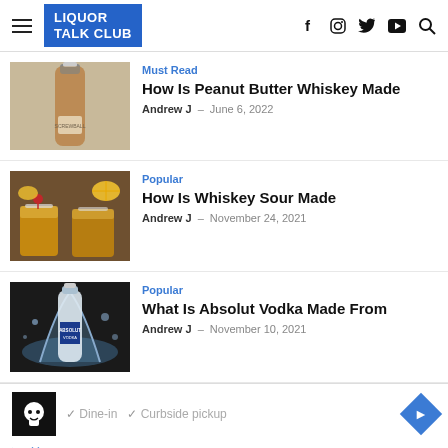LIQUOR TALK CLUB
Must Read
How Is Peanut Butter Whiskey Made
Andrew J - June 6, 2022
Popular
How Is Whiskey Sour Made
Andrew J - November 24, 2021
Popular
What Is Absolut Vodka Made From
Andrew J - November 10, 2021
✓ Dine-in  ✓ Curbside pickup